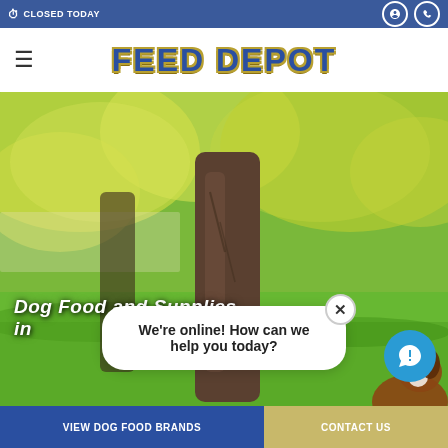CLOSED TODAY
FEED DEPOT
[Figure (photo): Outdoor park scene with a large tree trunk in center, blurred green grass foreground, yellow-green foliage background, and a dog partially visible at right edge]
Dog Food and Supplies in
We're online! How can we help you today?
VIEW DOG FOOD BRANDS
CONTACT US